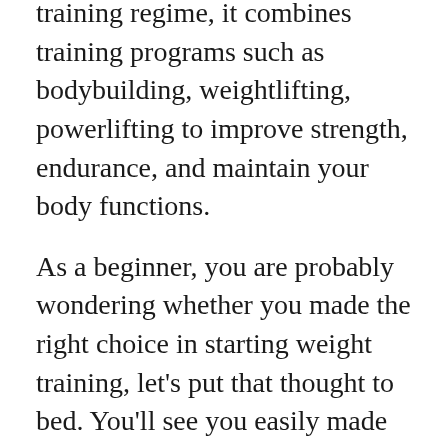training regime, it combines training programs such as bodybuilding, weightlifting, powerlifting to improve strength, endurance, and maintain your body functions.
As a beginner, you are probably wondering whether you made the right choice in starting weight training, let's put that thought to bed. You'll see you easily made the best choice once you get the full benefits of weight training.
If you'd like yo get started. But don't know how and need some tips on how to motivate you to get to the gym, check